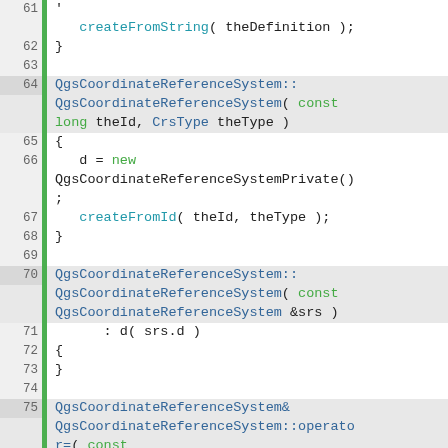Source code listing lines 61-84, QgsCoordinateReferenceSystem C++ implementation